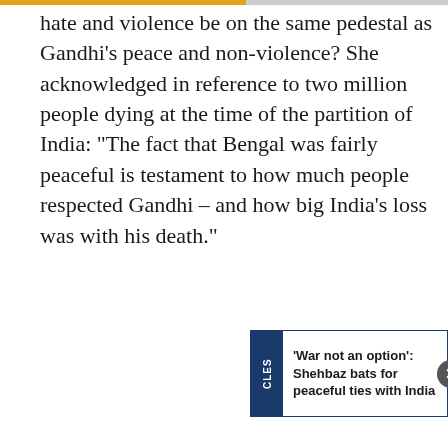hate and violence be on the same pedestal as Gandhi’s peace and non-violence? She acknowledged in reference to two million people dying at the time of the partition of India: “The fact that Bengal was fairly peaceful is testament to how much people respected Gandhi – and how big India’s loss was with his death.”
[Figure (screenshot): Popup notification reading '‘War not an option’: Shehbaz bats for peaceful ties with India' with a dark blue tab on the left side labeled 'CLES' and a close button (X) on the right.]
We use cookies on our website to give you the most relevant experience by remembering your preferences and repeat visits. By clicking “Accept All”, you consent to the use of ALL the cookies. However, you may visit "Cookie Settings" to provide a controlled consent.
Cookie Settings    Accept All